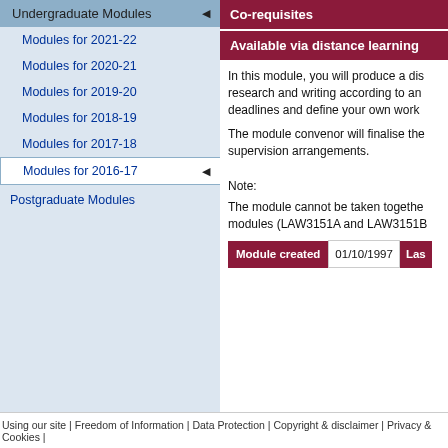Undergraduate Modules
Modules for 2021-22
Modules for 2020-21
Modules for 2019-20
Modules for 2018-19
Modules for 2017-18
Modules for 2016-17
Postgraduate Modules
Co-requisites
Available via distance learning
In this module, you will produce a dis… research and writing according to an… deadlines and define your own work…
The module convenor will finalise the… supervision arrangements.
Note:
The module cannot be taken togethe… modules (LAW3151A and LAW3151B…
| Module created | 01/10/1997 | Las… |
| --- | --- | --- |